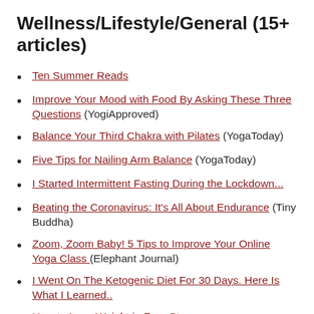Wellness/Lifestyle/General (15+ articles)
Ten Summer Reads
Improve Your Mood with Food By Asking These Three Questions (YogiApproved)
Balance Your Third Chakra with Pilates (YogaToday)
Five Tips for Nailing Arm Balance (YogaToday)
I Started Intermittent Fasting During the Lockdown...
Beating the Coronavirus: It's All About Endurance (Tiny Buddha)
Zoom, Zoom Baby! 5 Tips to Improve Your Online Yoga Class (Elephant Journal)
I Went On The Ketogenic Diet For 30 Days. Here Is What I Learned..
How to Lose Weight in Four Steps...